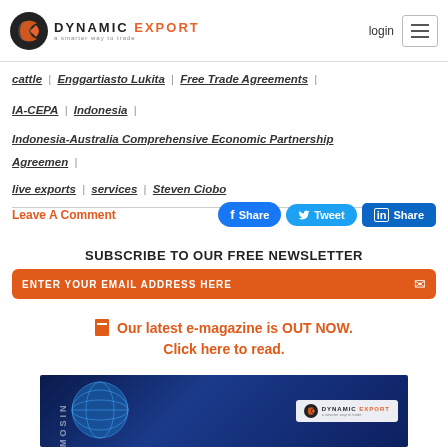DYNAMIC EXPORT — login
cattle | Enggartiasto Lukita | Free Trade Agreements |
IA-CEPA | Indonesia |
Indonesia-Australia Comprehensive Economic Partnership Agreemen |
live exports | services | Steven Ciobo
Leave A Comment
Share  Tweet  Share
SUBSCRIBE TO OUR FREE NEWSLETTER
ENTER YOUR EMAIL ADDRESS HERE
Our latest e-magazine is OUT NOW. Click here to read.
[Figure (photo): Dynamic Export e-magazine cover showing a globe on dark blue starry background with Dynamic Export logo]